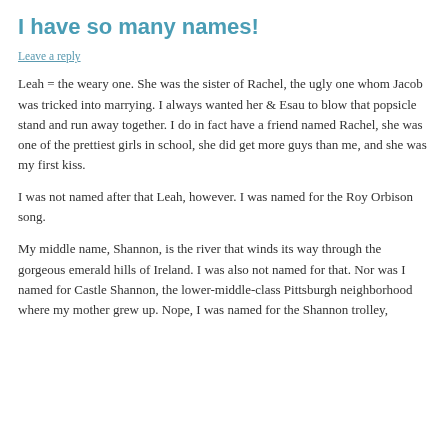I have so many names!
Leave a reply
Leah = the weary one. She was the sister of Rachel, the ugly one whom Jacob was tricked into marrying. I always wanted her & Esau to blow that popsicle stand and run away together. I do in fact have a friend named Rachel, she was one of the prettiest girls in school, she did get more guys than me, and she was my first kiss.
I was not named after that Leah, however. I was named for the Roy Orbison song.
My middle name, Shannon, is the river that winds its way through the gorgeous emerald hills of Ireland. I was also not named for that. Nor was I named for Castle Shannon, the lower-middle-class Pittsburgh neighborhood where my mother grew up. Nope, I was named for the Shannon trolley,